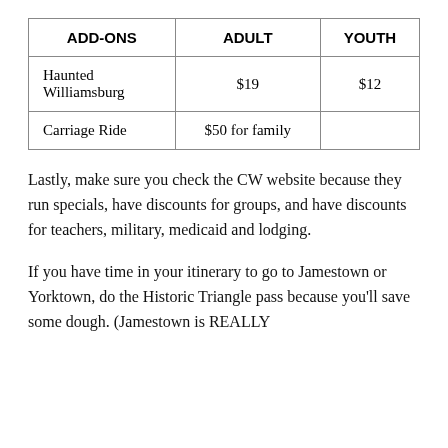| ADD-ONS | ADULT | YOUTH |
| --- | --- | --- |
| Haunted Williamsburg | $19 | $12 |
| Carriage Ride | $50 for family |  |
Lastly, make sure you check the CW website because they run specials, have discounts for groups, and have discounts for teachers, military, medicaid and lodging.
If you have time in your itinerary to go to Jamestown or Yorktown, do the Historic Triangle pass because you'll save some dough. (Jamestown is REALLY